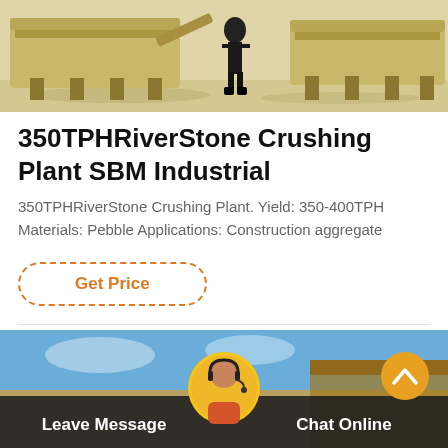[Figure (photo): Industrial stone crushing plant equipment with a person standing nearby, viewed from the side, showing large machinery on sandy ground.]
350TPHRiverStone Crushing Plant SBM Industrial
350TPHRiverStone Crushing Plant. Yield: 350-400TPH Materials: Pebble Applications: Construction aggregate
Get Price
[Figure (photo): Bottom banner showing a customer service representative with headset and industrial equipment in background, with Leave Message and Chat Online buttons.]